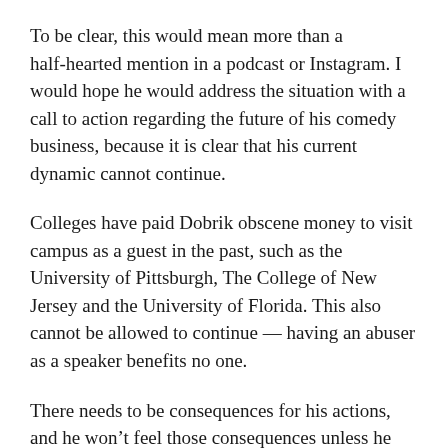To be clear, this would mean more than a half-hearted mention in a podcast or Instagram. I would hope he would address the situation with a call to action regarding the future of his comedy business, because it is clear that his current dynamic cannot continue.
Colleges have paid Dobrik obscene money to visit campus as a guest in the past, such as the University of Pittsburgh, The College of New Jersey and the University of Florida. This also cannot be allowed to continue — having an abuser as a speaker benefits no one.
There needs to be consequences for his actions, and he won't feel those consequences unless he has stopped profiting off his abusive behavior.
It's time to make it clear to Dobrik that his popularity does not justify emotional, physical or sexual abuse.